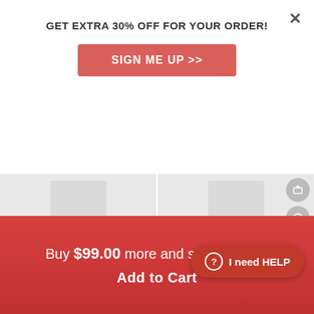GET EXTRA 30% OFF FOR YOUR ORDER!
SIGN ME UP >>
Reborn Sleeping Newborn Baby Dolls 17'' Real Lifelik...
$87.99  $156.99
[Heartbeat🔊 & Sound🎵] Reborn Newborn Baby...
$89.99
10% OFF
Save $10.00
Buy $99.00 more and save $10.00
Add to Cart
I need HELP